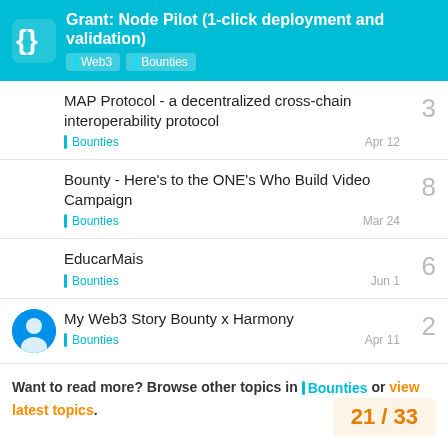Grant: Node Pilot (1-click deployment and validation) | Web3 | Bounties
MAP Protocol - a decentralized cross-chain interoperability protocol | Bounties | Apr 12 | 3
Bounty - Here’s to the ONE’s Who Build Video Campaign | Bounties | Mar 24 | 8
EducarMais | Bounties | Jun 1 | 6
My Web3 Story Bounty x Harmony | Bounties | Apr 11 | 2
Want to read more? Browse other topics in Bounties or view latest topics.
21 / 33